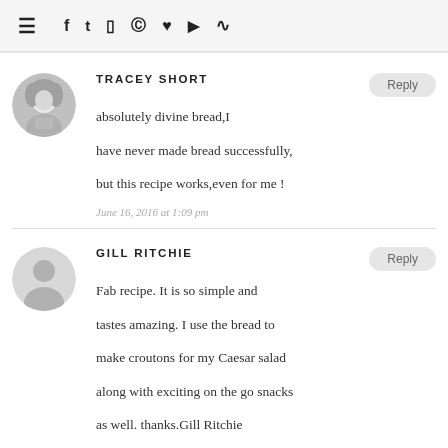≡ f t ☁ ☁ ♥ ▶ RSS
TRACEY SHORT
absolutely divine bread,I have never made bread successfully, but this recipe works,even for me !
June 16, 2016 at 1:09 pm
GILL RITCHIE
Fab recipe. It is so simple and tastes amazing. I use the bread to make croutons for my Caesar salad along with exciting on the go snacks as well. thanks.Gill Ritchie